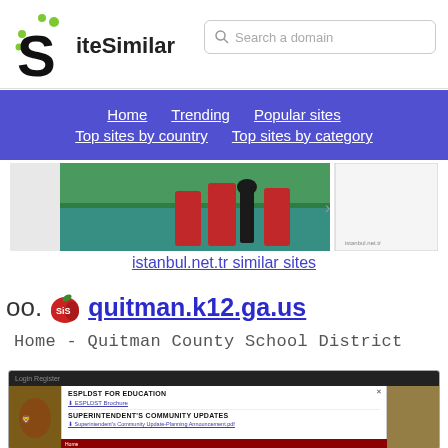SiteSimilar
[Figure (screenshot): SiteSimilar logo with stylized S]
Search a domain
Home   Trending   Popular sites   Top sites by country   Top sites by category
[Figure (screenshot): istanbul.net.tr website screenshot showing three women in red dresses with a harp by a lake]
istanbul.net.tr similar sites
oo.  quitman.k12.ga.us
Home - Quitman County School District
[Figure (screenshot): Screenshot of quitman.k12.ga.us showing ESPLDST FOR EDUCATION modal with SUPERINTENDENT'S COMMUNITY UPDATES]